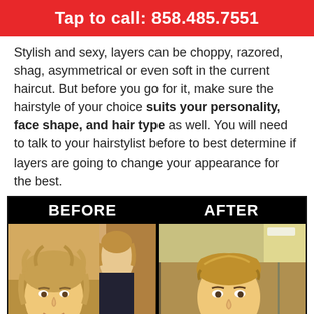Tap to call: 858.485.7551
Stylish and sexy, layers can be choppy, razored, shag, asymmetrical or even soft in the current haircut. But before you go for it, make sure the hairstyle of your choice suits your personality, face shape, and hair type as well. You will need to talk to your hairstylist before to best determine if layers are going to change your appearance for the best.
[Figure (photo): Before and after haircut comparison photos of a young man. Left panel labeled BEFORE shows longer, unstyled hair. Right panel labeled AFTER shows shorter, styled hair.]